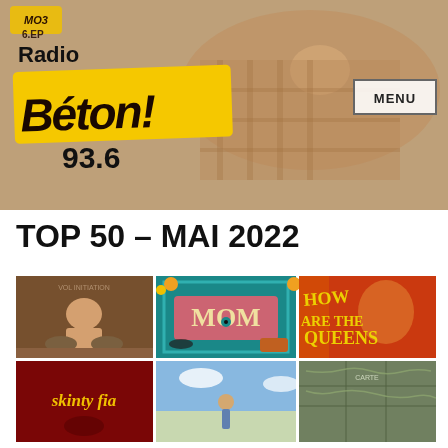[Figure (photo): Radio Béton 93.6 website header banner showing a person lying on a patterned surface, with the Radio Béton logo (yellow badge with stylized text), frequency 93.6, and a MENU button]
TOP 50 – MAI 2022
[Figure (photo): Grid of 6 album covers arranged in 2 rows of 3: Row 1: a person meditating on a bed (warm brown tones), MOM logo on teal background, fiery abstract with text showing 'QUEENS'; Row 2: 'skinty fia' text on dark red, a person in a blue sky setting, a map-style illustration]